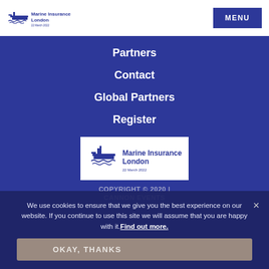[Figure (logo): Marine Insurance London logo with ship icon and date 22 March 2022]
MENU
Partners
Contact
Global Partners
Register
[Figure (logo): Marine Insurance London logo box with ship icon, London text, and date 22 March 2022]
COPYRIGHT © 2020 | CANNON EVENTS
We use cookies to ensure that we give you the best experience on our website. If you continue to use this site we will assume that you are happy with it. Find out more.
OKAY, THANKS